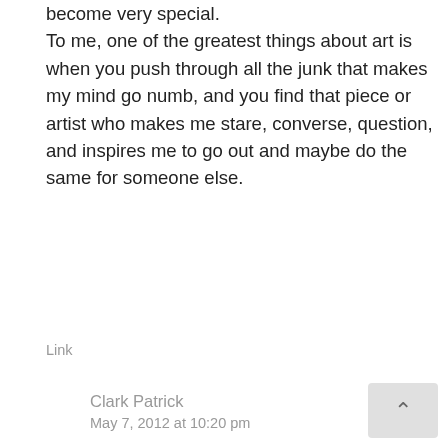become very special.
To me, one of the greatest things about art is when you push through all the junk that makes my mind go numb, and you find that piece or artist who makes me stare, converse, question, and inspires me to go out and maybe do the same for someone else.
Link
Clark Patrick
May 7, 2012 at 10:20 pm
Double Agree.
Link
Dan Kozma
May 7, 2012 at 1:17 pm
I agree that we all need more thought provoking and emotionally stirring art. Art, in my humble opinion, is